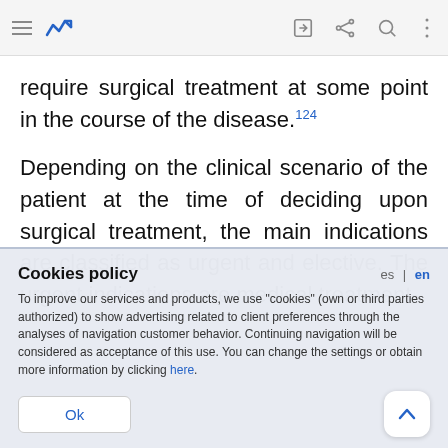[Navigation bar with hamburger menu, logo, edit icon, share icon, search icon, more options icon]
require surgical treatment at some point in the course of the disease.124
Depending on the clinical scenario of the patient at the time of deciding upon surgical treatment, the main indications are classified as urgent and elective. The urgent indications are medical treatment-
Cookies policy
To improve our services and products, we use "cookies" (own or third parties authorized) to show advertising related to client preferences through the analyses of navigation customer behavior. Continuing navigation will be considered as acceptance of this use. You can change the settings or obtain more information by clicking here.
Ok